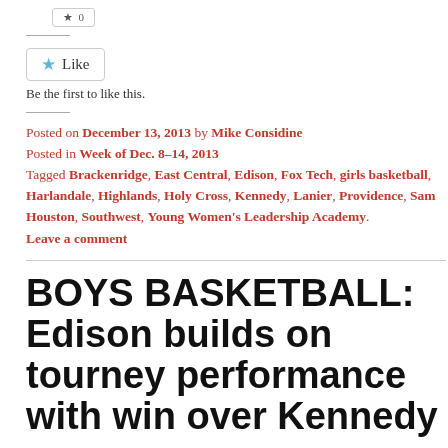[Figure (other): A small button/widget element at top of page]
[Figure (other): Like button with star icon]
Be the first to like this.
Posted on December 13, 2013 by Mike Considine
Posted in Week of Dec. 8-14, 2013
Tagged Brackenridge, East Central, Edison, Fox Tech, girls basketball, Harlandale, Highlands, Holy Cross, Kennedy, Lanier, Providence, Sam Houston, Southwest, Young Women's Leadership Academy.
Leave a comment
BOYS BASKETBALL: Edison builds on tourney performance with win over Kennedy